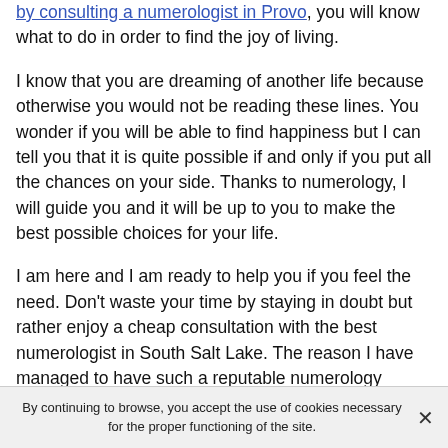by consulting a numerologist in Provo, you will know what to do in order to find the joy of living.
I know that you are dreaming of another life because otherwise you would not be reading these lines. You wonder if you will be able to find happiness but I can tell you that it is quite possible if and only if you put all the chances on your side. Thanks to numerology, I will guide you and it will be up to you to make the best possible choices for your life.
I am here and I am ready to help you if you feel the need. Don't waste your time by staying in doubt but rather enjoy a cheap consultation with the best numerologist in South Salt Lake. The reason I have managed to have such a reputable numerology practice is because I have already helped many people as you will see in the few reviews
By continuing to browse, you accept the use of cookies necessary for the proper functioning of the site.